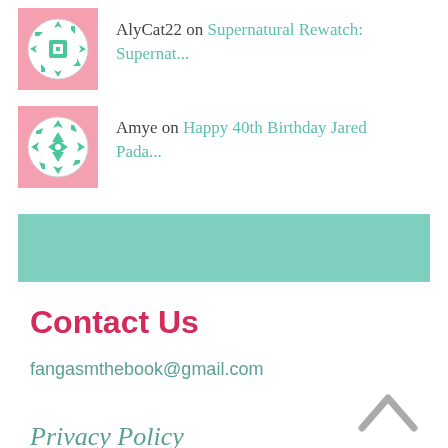AlyCat22 on Supernatural Rewatch: Supernat...
Amye on Happy 40th Birthday Jared Pada...
Contact Us
fangasmthebook@gmail.com
Privacy Policy